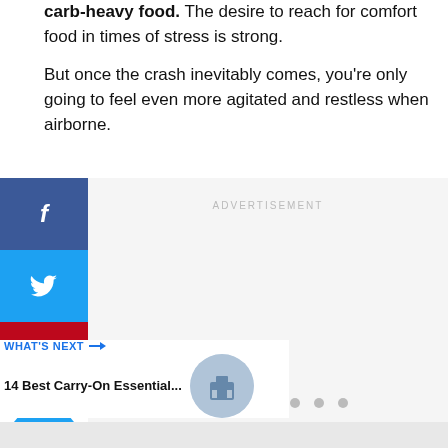carb-heavy food. The desire to reach for comfort food in times of stress is strong.
But once the crash inevitably comes, you're only going to feel even more agitated and restless when airborne.
[Figure (infographic): Social media sharing buttons: Facebook (blue), Twitter (blue), Pinterest (red), heart/like button (blue circle), share button (white circle). Advertisement placeholder area with 'ADVERTISEMENT' label.]
WHAT'S NEXT → 14 Best Carry-On Essential...